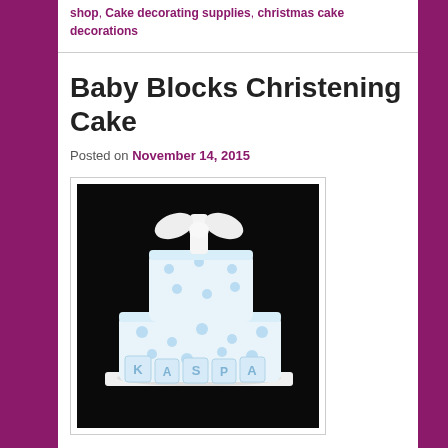shop, Cake decorating supplies, christmas cake decorations
Baby Blocks Christening Cake
Posted on November 14, 2015
[Figure (photo): A baby blocks christening cake with white fondant-covered tiered cake sitting on a white board, decorated with blue letter blocks spelling a name around the base, blue polka dot pattern on the cake, and a white fondant bow on top, photographed against a black background.]
Baby Blocks Christening Cake